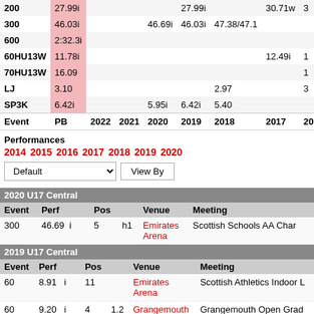| Event | PB | 2022 | 2021 | 2020 | 2019 | 2018 | 2017 | 2016 | 2... |
| --- | --- | --- | --- | --- | --- | --- | --- | --- | --- |
| 200 | 27.99i |  |  |  | 27.99i |  | 30.71w | 3 |
| 300 | 46.03i |  |  | 46.69i | 46.03i | 47.38/47.1 |  |  |
| 600 | 2:32.3i |  |  |  |  |  |  |  |
| 60HU13W | 11.78i |  |  |  |  |  | 12.49i | 1 |
| 70HU13W | 16.09 |  |  |  |  |  |  | 1 |
| LJ | 3.10 |  |  |  |  | 2.97 |  | 3 |
| SP3K | 6.42i |  |  | 5.95i | 6.42i | 5.40 |  |  |
Performances
2014 2015 2016 2017 2018 2019 2020
| Event | Perf | Pos | Venue | Meeting |
| --- | --- | --- | --- | --- |
| 300 | 46.69 i | 5  h1 | Emirates Arena | Scottish Schools AA Char |
| Event | Perf | Pos | Venue | Meeting |
| --- | --- | --- | --- | --- |
| 60 | 8.91  i | 11 | Emirates Arena | Scottish Athletics Indoor L |
| 60 | 9.20  i | 4  1.2 | Grangemouth | Grangemouth Open Grad |
| 60 | 9.22  i | 19 | Emirates Arena | Scottish Athletics Indoor L |